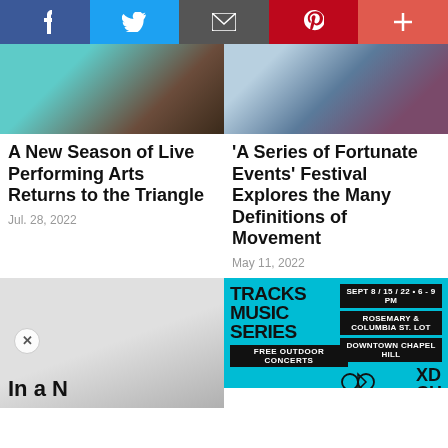[Figure (screenshot): Social media sharing bar with Facebook, Twitter, Email, Pinterest, and Plus buttons]
[Figure (photo): Musicians playing instruments on teal background]
A New Season of Live Performing Arts Returns to the Triangle
Jul. 28, 2022
[Figure (photo): Two people with hands together on purple/blue background]
'A Series of Fortunate Events' Festival Explores the Many Definitions of Movement
May 11, 2022
[Figure (photo): Faded gray image with person silhouette]
In a N
[Figure (infographic): Tracks Music Series advertisement. SEPT 8/15/22 • 6-9 PM. ROSEMARY & COLUMBIA ST. LOT. DOWNTOWN CHAPEL HILL. FREE OUTDOOR CONCERTS. Community Arts & Culture. XD CH.]